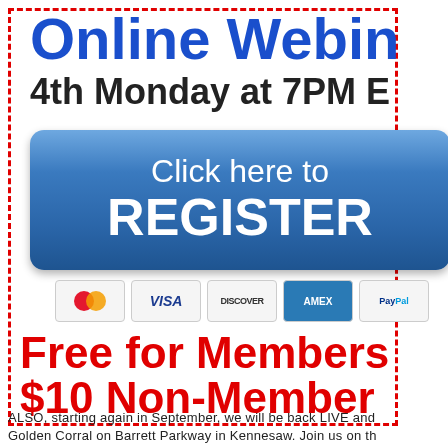Online Webinar
4th Monday at 7PM
[Figure (infographic): Blue rounded rectangle button with text 'Click here to REGISTER']
[Figure (infographic): Payment method icons: Mastercard, VISA, DISCOVER, AMEX, PayPal]
Free for Members
$10 Non-Members
ALSO, starting again in September, we will be back LIVE and
Golden Corral on Barrett Parkway in Kennesaw. Join us on th